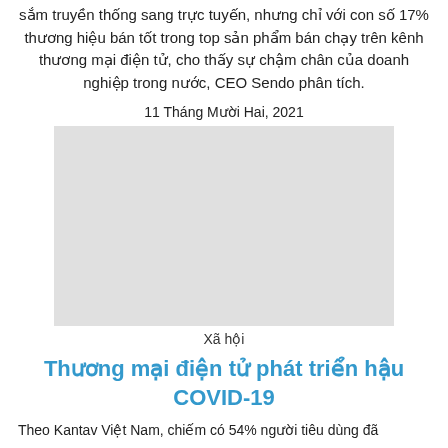sắm truyền thống sang trực tuyến, nhưng chỉ với con số 17% thương hiệu bán tốt trong top sản phẩm bán chạy trên kênh thương mại điện tử, cho thấy sự chậm chân của doanh nghiệp trong nước, CEO Sendo phân tích.
11 Tháng Mười Hai, 2021
[Figure (photo): A light gray rectangular image placeholder]
Xã hội
Thương mại điện tử phát triển hậu COVID-19
Theo Kantav Việt Nam, chiếm có 54% người tiêu dùng đã...